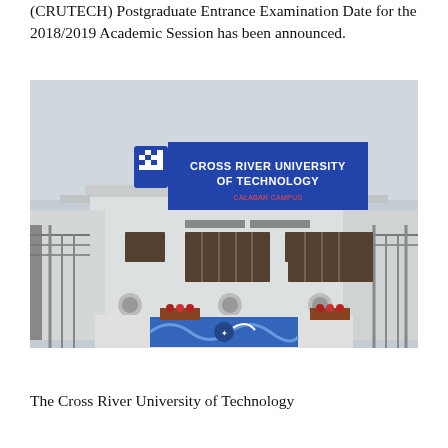(CRUTECH) Postgraduate Entrance Examination Date for the 2018/2019 Academic Session has been announced.
[Figure (photo): Photograph of the Cross River University of Technology (CRUTECH) Calabar Campus building entrance, a white multi-storey structure with a blue sign reading 'CROSS RIVER UNIVERSITY OF TECHNOLOGY CALABAR CAMPUS', and decorative blue art at the base.]
The Cross River University of Technology